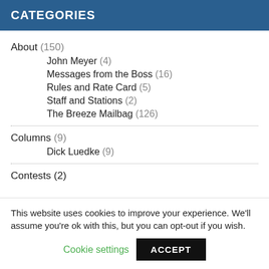CATEGORIES
About (150)
John Meyer (4)
Messages from the Boss (16)
Rules and Rate Card (5)
Staff and Stations (2)
The Breeze Mailbag (126)
Columns (9)
Dick Luedke (9)
Contests (2)
This website uses cookies to improve your experience. We'll assume you're ok with this, but you can opt-out if you wish.
Cookie settings  ACCEPT